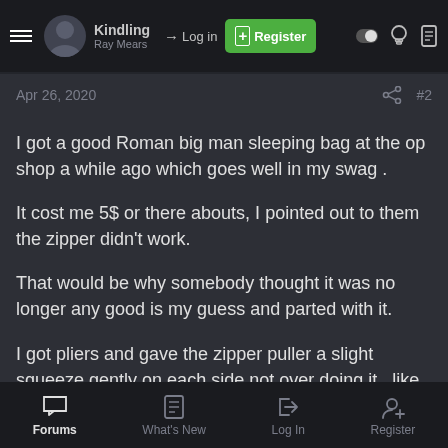Kindling / Ray Mears — Log in — Register
Apr 26, 2020  #2
I got a good Roman big man sleeping bag at the op shop a while ago which goes well in my swag .
It cost me 5$ or there abouts, I pointed out to them the zipper didn't work.
That would be why somebody thought it was no longer any good is my guess and parted with it.
I got pliers and gave the zipper puller a slight squeeze gently on each side not over doing it , like how a can opener stops grabbing properly , a bit similar the zip was not closing the two sides together
Forums — What's New — Log In — Register